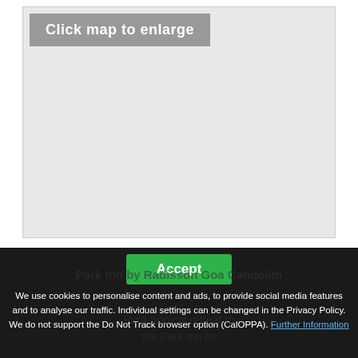[Figure (screenshot): A map placeholder area with a gray 'Click map to enlarge' button in the top-left corner. The map area is mostly light gray/empty.]
Accept
We use cookies to personalise content and ads, to provide social media features and to analyse our traffic. Individual settings can be changed in the Privacy Policy. We do not support the Do Not Track browser option (CalOPPA). Further Information
Park Inn by Radisson Goa Candolim
Pura tropical retreat to the Park Inn by